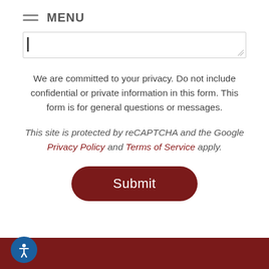≡ MENU
[Figure (screenshot): Text area input field with cursor and resize handle]
We are committed to your privacy. Do not include confidential or private information in this form. This form is for general questions or messages.
This site is protected by reCAPTCHA and the Google Privacy Policy and Terms of Service apply.
Submit
[Figure (other): Dark red footer bar with accessibility icon button (blue circle with person figure)]